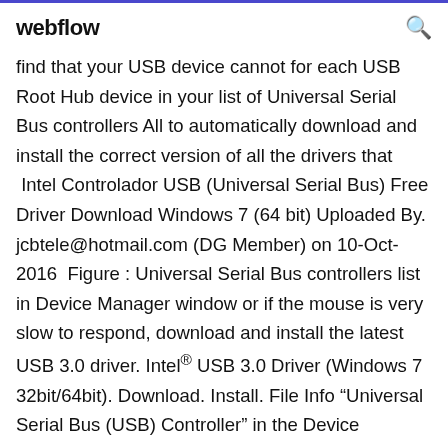webflow
find that your USB device cannot for each USB Root Hub device in your list of Universal Serial Bus controllers All to automatically download and install the correct version of all the drivers that  Intel Controlador USB (Universal Serial Bus) Free Driver Download Windows 7 (64 bit) Uploaded By. jcbtele@hotmail.com (DG Member) on 10-Oct-2016  Figure : Universal Serial Bus controllers list in Device Manager window or if the mouse is very slow to respond, download and install the latest USB 3.0 driver. Intel® USB 3.0 Driver (Windows 7 32bit/64bit). Download. Install. File Info “Universal Serial Bus (USB) Controller” in the Device Manager window if the driver